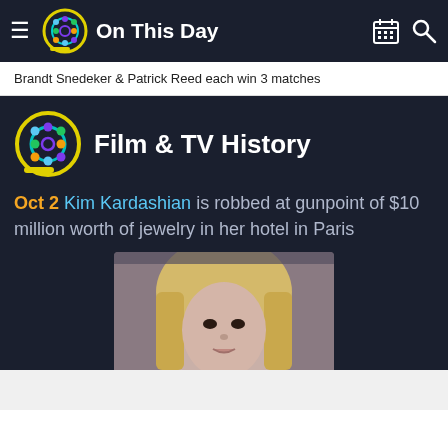On This Day
Brandt Snedeker & Patrick Reed each win 3 matches
Film & TV History
Oct 2 Kim Kardashian is robbed at gunpoint of $10 million worth of jewelry in her hotel in Paris
[Figure (photo): Photo of Kim Kardashian with blonde hair]